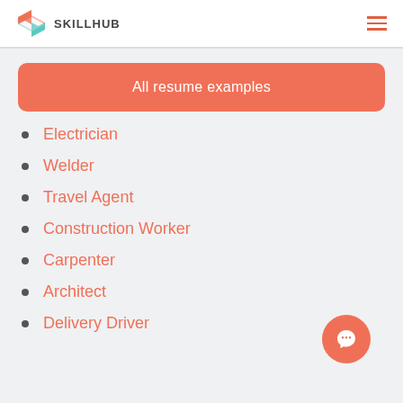SKILLHUB
All resume examples
Electrician
Welder
Travel Agent
Construction Worker
Carpenter
Architect
Delivery Driver